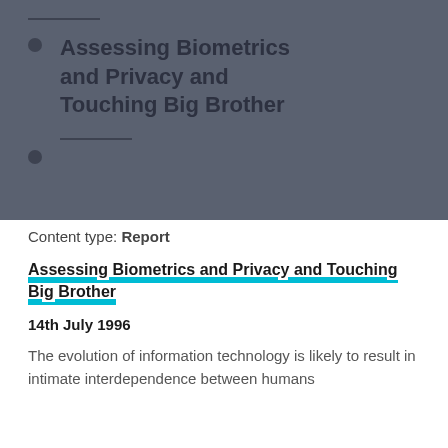[Figure (illustration): Dark slate-blue panel showing a bulleted list slide with horizontal rule decorations, bullet points, and bold text reading 'Assessing Biometrics and Privacy and Touching Big Brother']
Content type: Report
Assessing Biometrics and Privacy and Touching Big Brother
14th July 1996
The evolution of information technology is likely to result in intimate interdependence between humans